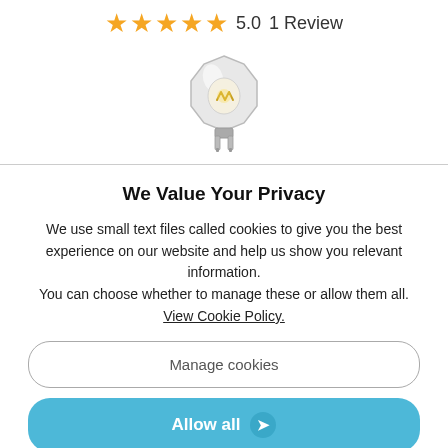5.0   1 Review (5 stars rating)
[Figure (photo): Small clear/transparent illuminated oven lamp bulb with metal connector pins, product photo on white background]
We Value Your Privacy
We use small text files called cookies to give you the best experience on our website and help us show you relevant information.
You can choose whether to manage these or allow them all.
View Cookie Policy.
Manage cookies
Allow all